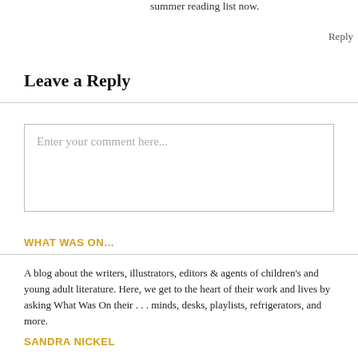summer reading list now.
Reply
Leave a Reply
Enter your comment here...
WHAT WAS ON…
A blog about the writers, illustrators, editors & agents of children's and young adult literature. Here, we get to the heart of their work and lives by asking What Was On their . . . minds, desks, playlists, refrigerators, and more.
SANDRA NICKEL